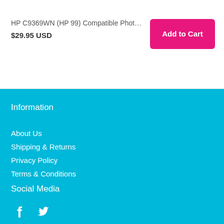HP C9369WN (HP 99) Compatible Photo Color Ink ...
$29.95 USD
Add to Cart
Information
About Us
Shipping & Returns
Privacy Policy
Terms & Conditions
Social Media
[Figure (illustration): Facebook and Twitter social media icons in white on cyan background]